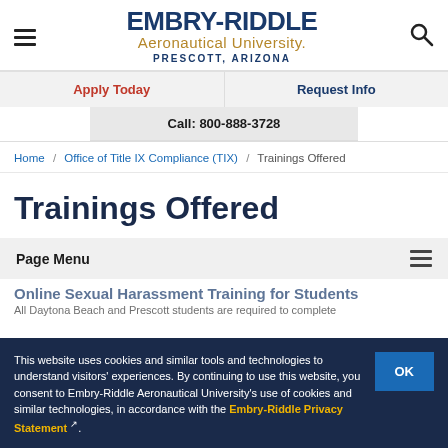EMBRY-RIDDLE Aeronautical University. PRESCOTT, ARIZONA
Apply Today | Request Info | Call: 800-888-3728
Home / Office of Title IX Compliance (TIX) / Trainings Offered
Trainings Offered
Page Menu
This website uses cookies and similar tools and technologies to understand visitors' experiences. By continuing to use this website, you consent to Embry-Riddle Aeronautical University's use of cookies and similar technologies, in accordance with the Embry-Riddle Privacy Statement.